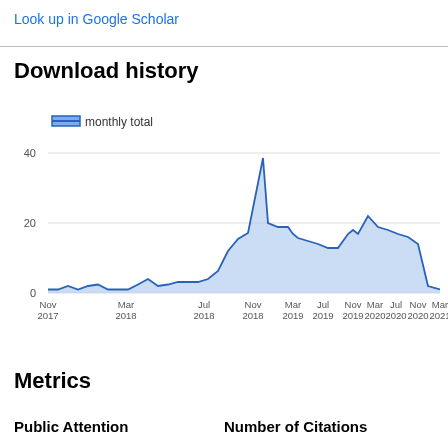Look up in Google Scholar
Download history
[Figure (area-chart): Download history]
Metrics
Public Attention
Number of Citations